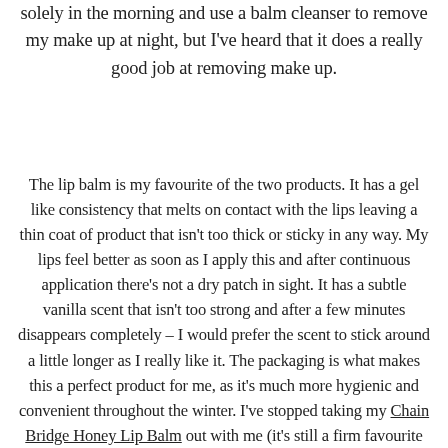solely in the morning and use a balm cleanser to remove my make up at night, but I've heard that it does a really good job at removing make up.
The lip balm is my favourite of the two products. It has a gel like consistency that melts on contact with the lips leaving a thin coat of product that isn't too thick or sticky in any way. My lips feel better as soon as I apply this and after continuous application there's not a dry patch in sight. It has a subtle vanilla scent that isn't too strong and after a few minutes disappears completely – I would prefer the scent to stick around a little longer as I really like it. The packaging is what makes this a perfect product for me, as it's much more hygienic and convenient throughout the winter. I've stopped taking my Chain Bridge Honey Lip Balm out with me (it's still a firm favourite on my bedside table) as that's in a pot that you have to dip your finger in. I don't mind too much in the summer but once winter hits, the gloves come out and